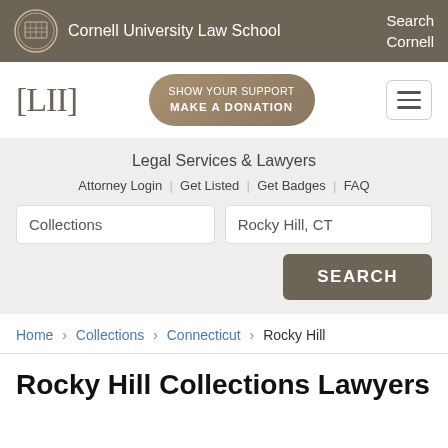Cornell University Law School | Search Cornell
[Figure (logo): LII logo with [LII] bracket text and Show Your Support Make a Donation button]
Legal Services & Lawyers
Attorney Login | Get Listed | Get Badges | FAQ
Collections [search input] Rocky Hill, CT [search input] SEARCH [button]
Home › Collections › Connecticut › Rocky Hill
Rocky Hill Collections Lawyers